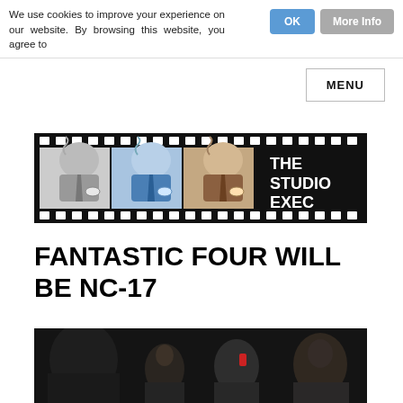We use cookies to improve your experience on our website. By browsing this website, you agree to
OK
More Info
MENU
[Figure (illustration): The Studio Exec logo banner: a film strip with cartoon illustrations of a suited executive holding a drink and cigar in greyscale, blue-toned, and brown-toned panels, with 'THE STUDIO EXEC' text on the right in white on black background.]
FANTASTIC FOUR WILL BE NC-17
[Figure (photo): Dark photograph showing several people, partially visible, on a dark background with a red light visible.]